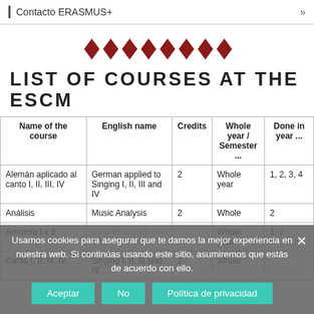Contacto ERASMUS+
[Figure (illustration): Row of dark red diamond shapes as decorative divider]
LIST OF COURSES AT THE ESCM
| Name of the course | English name | Credits | Whole year / Semester ... | Done in year ... |
| --- | --- | --- | --- | --- |
| Alemán aplicado al canto I, II, III, IV | German applied to Singing I, II, III and IV | 2 | Whole year | 1, 2, 3, 4 |
| Análisis | Music Analysis | 2 | Whole | 2 |
| Armonía I y II |  |  | Whole year | 1, 2 |
| Canto I, II, III, IV... | Singing I, II, III and IV... | 2 | Whole |  |